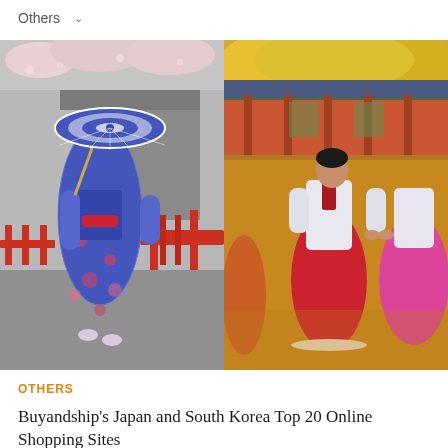Others ∨
[Figure (photo): Side-by-side photos: left shows a woman in a blue floral kimono holding a blue and white umbrella walking on a grey path with a red bridge and cherry blossoms in a Japanese setting; right shows women in traditional Korean hanbok (red/white and pink) holding hands at a palace courtyard with golden ginkgo trees in autumn.]
OTHERS
Buyandship's Japan and South Korea Top 20 Online Shopping Sites